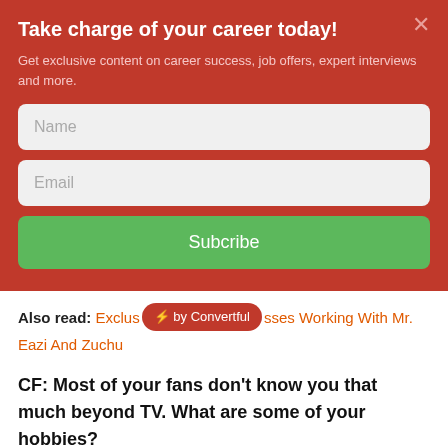Take charge of your career today!
Get exclusive content on career success, job offers, expert interviews and more.
[Figure (screenshot): Email subscription form with Name field, Email field, and Subscribe button on red background]
Also read: Exclusive Classes Working With Mr. Eazi And Zuchu
CF: Most of your fans don't know you that much beyond TV. What are some of your hobbies?
JO: I really enjoy physical activities. I also have a